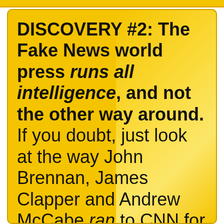DISCOVERY #2: The Fake News world press runs all intelligence, and not the other way around. If you doubt, just look at the way John Brennan, James Clapper and Andrew McCabe ran to CNN for employment. Observe how Barry & Mike (Obamas)